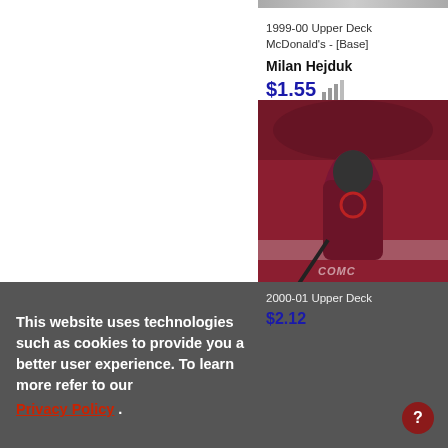1999-00 Upper Deck McDonald's - [Base]
Milan Hejduk
$1.55
[Figure (photo): Hockey trading card showing a player in a dark maroon Colorado Avalanche jersey skating on ice, with COMCA watermark and Peter Forsberg name on bottom band]
This website uses technologies such as cookies to provide you a better user experience. To learn more refer to our Privacy Policy .
I Accept
2000-01 Upper Deck
$2.12